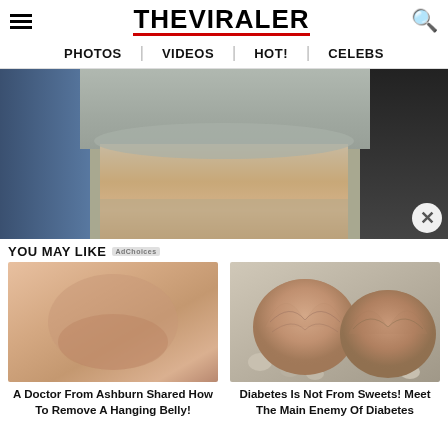THE VIRALER
PHOTOS
VIDEOS
HOT!
CELEBS
[Figure (photo): Photo of person wearing gray t-shirt and shorts, close-up of lower body in crowd setting]
YOU MAY LIKE
[Figure (photo): Close-up photo of a person's abdomen/belly]
A Doctor From Ashburn Shared How To Remove A Hanging Belly!
[Figure (photo): Photo of round pink-brown succulent plants on pebbles]
Diabetes Is Not From Sweets! Meet The Main Enemy Of Diabetes